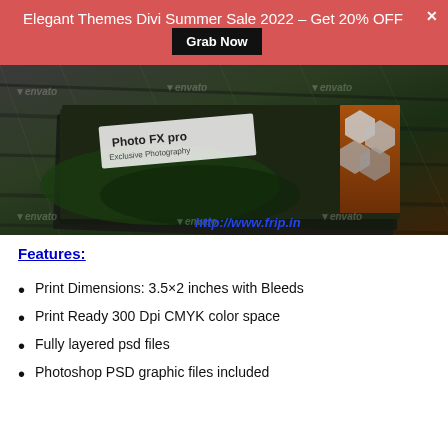Elegant Themes Divi Summer Sale 2022 – Get 20% OFF  Grab Now  ×
[Figure (photo): Photo FX pro Exclusive Photography business card mockup on dark background with envato watermarks and http://www.frip.in URL overlay]
Features:
Print Dimensions: 3.5×2 inches with Bleeds
Print Ready 300 Dpi CMYK color space
Fully layered psd files
Photoshop PSD graphic files included